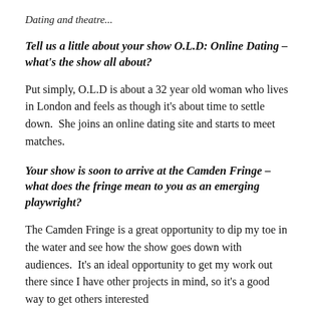Dating and theatre...
Tell us a little about your show O.L.D: Online Dating – what's the show all about?
Put simply, O.L.D is about a 32 year old woman who lives in London and feels as though it's about time to settle down.  She joins an online dating site and starts to meet matches.
Your show is soon to arrive at the Camden Fringe – what does the fringe mean to you as an emerging playwright?
The Camden Fringe is a great opportunity to dip my toe in the water and see how the show goes down with audiences.  It's an ideal opportunity to get my work out there since I have other projects in mind, so it's a good way to get others interested